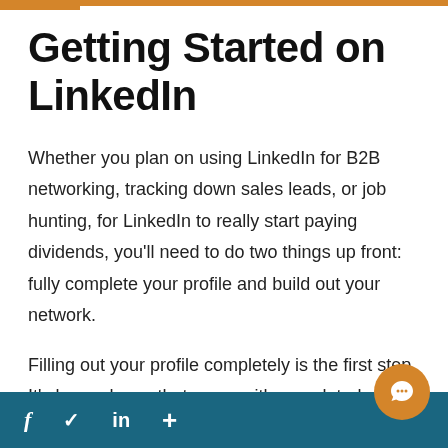Getting Started on LinkedIn
Whether you plan on using LinkedIn for B2B networking, tracking down sales leads, or job hunting, for LinkedIn to really start paying dividends, you'll need to do two things up front: fully complete your profile and build out your network.
Filling out your profile completely is the first step. It's been shown that users with completed profiles are 40 percent more likely to receive
f  ✓  in  +